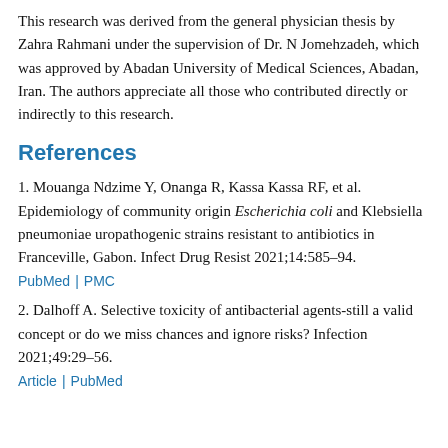This research was derived from the general physician thesis by Zahra Rahmani under the supervision of Dr. N Jomehzadeh, which was approved by Abadan University of Medical Sciences, Abadan, Iran. The authors appreciate all those who contributed directly or indirectly to this research.
References
1. Mouanga Ndzime Y, Onanga R, Kassa Kassa RF, et al. Epidemiology of community origin Escherichia coli and Klebsiella pneumoniae uropathogenic strains resistant to antibiotics in Franceville, Gabon. Infect Drug Resist 2021;14:585–94.
PubMed | PMC
2. Dalhoff A. Selective toxicity of antibacterial agents-still a valid concept or do we miss chances and ignore risks? Infection 2021;49:29–56.
Article | PubMed